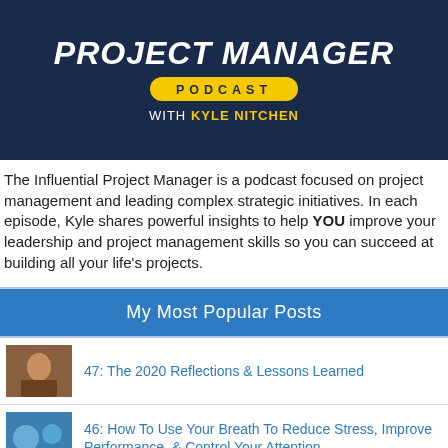[Figure (illustration): Influential Project Manager Podcast banner with dark navy background, bold white italic title text, yellow pill-shaped 'PODCAST' badge, and 'WITH KYLE NITCHEN' byline with yellow name]
The Influential Project Manager is a podcast focused on project management and leading complex strategic initiatives. In each episode, Kyle shares powerful insights to help YOU improve your leadership and project management skills so you can succeed at building all your life's projects.
My Most Popular Posts
47: The 2020 Reflections & Lessons Learned
46: How To Use Your Breath To Reduce Stress, Improve Performance, & Control Your Attention